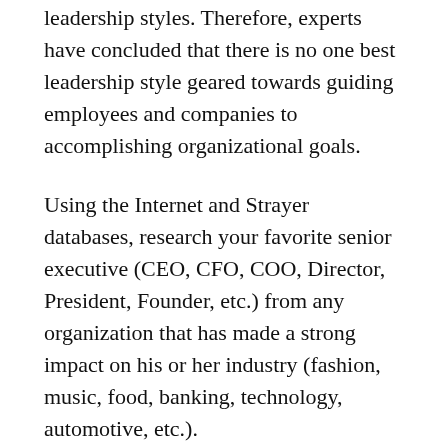leadership styles. Therefore, experts have concluded that there is no one best leadership style geared towards guiding employees and companies to accomplishing organizational goals.
Using the Internet and Strayer databases, research your favorite senior executive (CEO, CFO, COO, Director, President, Founder, etc.) from any organization that has made a strong impact on his or her industry (fashion, music, food, banking, technology, automotive, etc.).
Write a six to eight (6–8) page paper in which you:
Describe the overall leadership style(s) of…